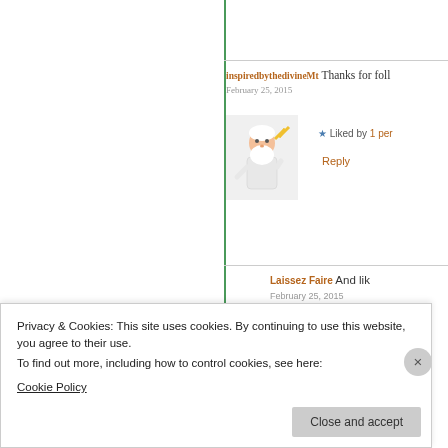inspiredbythedivineMt Thanks for foll
February 25, 2015
[Figure (illustration): Cartoon illustration of a white-bearded old man (Zeus-like figure) in white robes holding a lightning bolt]
★ Liked by 1 per
Reply
Laissez Faire    And lik
February 25, 2015
[Figure (photo): Close-up photo of a person's eyes with warm orange/brown tones]
★ Liked
Reply
Privacy & Cookies: This site uses cookies. By continuing to use this website, you agree to their use.
To find out more, including how to control cookies, see here:
Cookie Policy
Close and accept